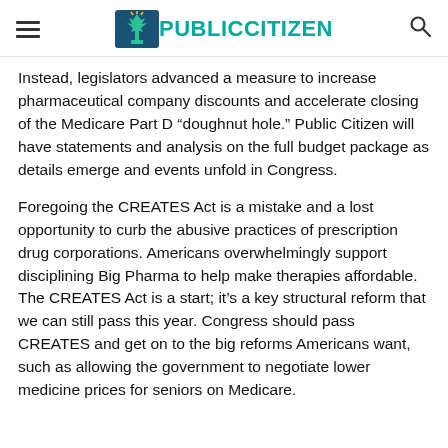PUBLIC CITIZEN
Instead, legislators advanced a measure to increase pharmaceutical company discounts and accelerate closing of the Medicare Part D “doughnut hole.” Public Citizen will have statements and analysis on the full budget package as details emerge and events unfold in Congress.
Foregoing the CREATES Act is a mistake and a lost opportunity to curb the abusive practices of prescription drug corporations. Americans overwhelmingly support disciplining Big Pharma to help make therapies affordable. The CREATES Act is a start; it’s a key structural reform that we can still pass this year. Congress should pass CREATES and get on to the big reforms Americans want, such as allowing the government to negotiate lower medicine prices for seniors on Medicare.